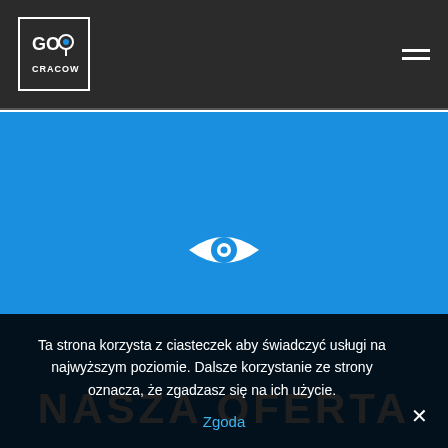[Figure (logo): Go Cracow logo in white bordered box with location pin icon]
[Figure (infographic): White eye icon centered on blue background hero section]
NASZA OFERTA
Ta strona korzysta z ciasteczek aby świadczyć usługi na najwyższym poziomie. Dalsze korzystanie ze strony oznacza, że zgadzasz się na ich użycie.
Zgoda